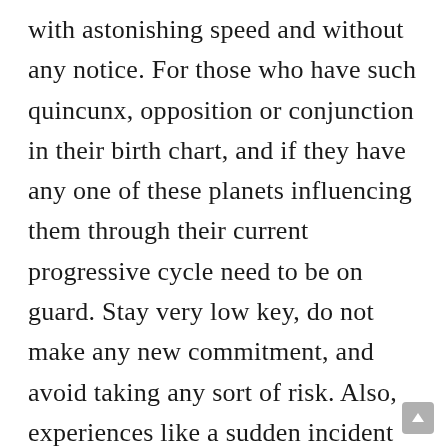with astonishing speed and without any notice. For those who have such quincunx, opposition or conjunction in their birth chart, and if they have any one of these planets influencing them through their current progressive cycle need to be on guard. Stay very low key, do not make any new commitment, and avoid taking any sort of risk. Also, experiences like a sudden incident of fire, or an accident involving explosive material are very possible.

On the world scene, sudden outbreak of an undesirable happening,  possibilities of both